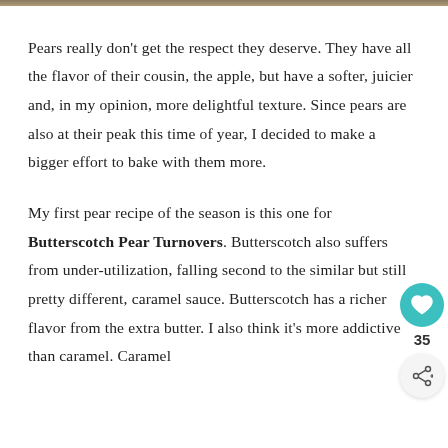[Figure (photo): Decorative image strip at the top of the page, showing a blurred food/nature scene in muted tones.]
Pears really don't get the respect they deserve. They have all the flavor of their cousin, the apple, but have a softer, juicier and, in my opinion, more delightful texture. Since pears are also at their peak this time of year, I decided to make a bigger effort to bake with them more.
My first pear recipe of the season is this one for Butterscotch Pear Turnovers. Butterscotch also suffers from under-utilization, falling second to the similar but still pretty different, caramel sauce. Butterscotch has a richer flavor from the extra butter. I also think it's more addictive than caramel. Caramel